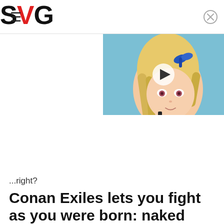SVG
[Figure (screenshot): Video thumbnail showing an anime-style blonde character with a blue hair ribbon, with a play button overlay. Background shows a poolside setting.]
...right?
Conan Exiles lets you fight as you were born: naked